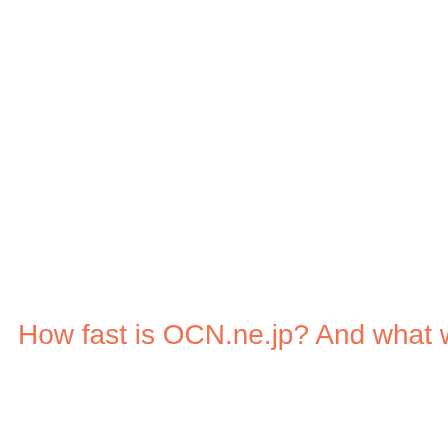How fast is OCN.ne.jp? And what web server